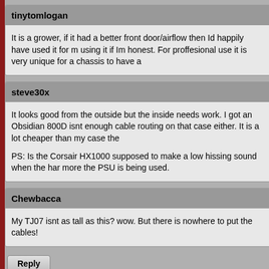tinytomlogan
It is a grower, if it had a better front door/airflow then Id happily have used it for m using it if Im honest. For proffesional use it is very unique for a chassis to have a
steve30x
It looks good from the outside but the inside needs work. I got an Obsidian 800D isnt enough cable routing on that case either. It is a lot cheaper than my case the

PS: Is the Corsair HX1000 supposed to make a low hissing sound when the har more the PSU is being used.
Chewbacca
My TJ07 isnt as tall as this? wow. But there is nowhere to put the cables!
Reply